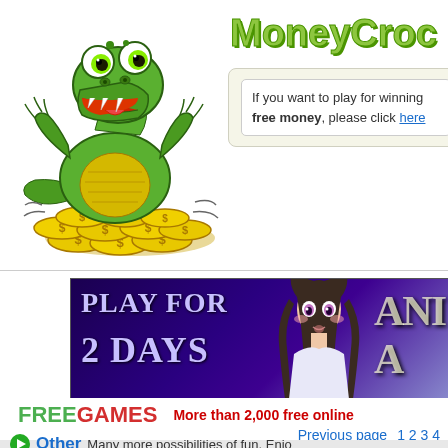[Figure (illustration): Cartoon green crocodile character with yellow belly standing on a pile of gold coins with dollar signs, arms raised cheerfully]
MoneyCroc
If you want to play for winning free money, please click here
[Figure (illustration): Advertisement banner with text PLAY FOR 2 DAYS and anime-style girl character on purple/dark background, with additional text on right side]
FREEGAMES  More than 2,000 free online
Previous page  1 2 3 4
Other  Many more possibilities of fun. Enjo